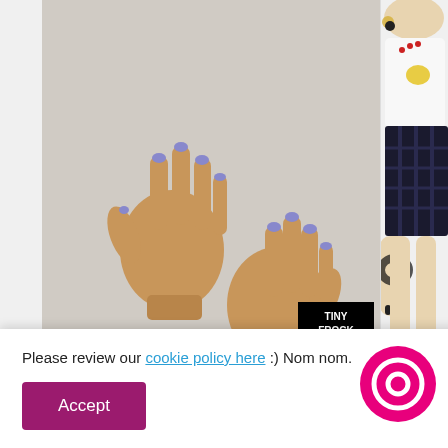[Figure (photo): Two doll hands with purple painted nails against a light gray background, with a Tiny Frock Shop watermark logo in the bottom right of the image]
$ 19.25 USD
[Figure (photo): Fashion doll wearing white graphic top and black mini skirt with lace wrist accessory, partially visible on right side]
$ 12.25 USD
Please review our cookie policy here :) Nom nom.
Accept